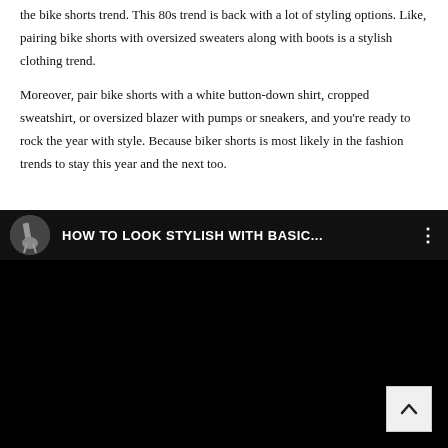the bike shorts trend. This 80s trend is back with a lot of styling options. Like, pairing bike shorts with oversized sweaters along with boots is a stylish clothing trend.
Moreover, pair bike shorts with a white button-down shirt, cropped sweatshirt, or oversized blazer with pumps or sneakers, and you’re ready to rock the year with style. Because biker shorts is most likely in the fashion trends to stay this year and the next too.
[Figure (screenshot): Embedded YouTube video player with black background. Header shows a circular avatar thumbnail of a person in dark clothing, title text 'HOW TO LOOK STYLISH WITH BASIC...' in white on dark background, and a three-dot menu icon. The main video area is entirely black. A scroll-to-top button (white square with upward chevron) is in the bottom-right corner.]